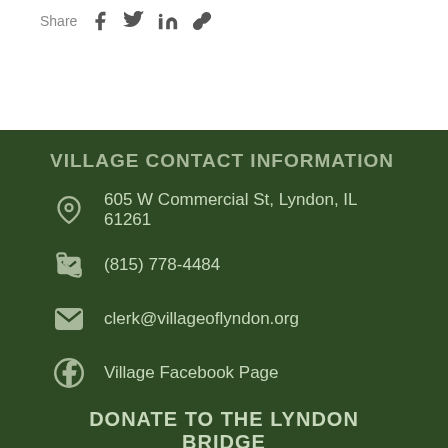Share
VILLAGE CONTACT INFORMATION
605 W Commercial St, Lyndon, IL 61261
(815) 778-4484
clerk@villageoflyndon.org
Village Facebook Page
DONATE TO THE LYNDON BRIDGE
[Figure (illustration): Line drawing/illustration of a truss bridge (Lyndon Bridge) in white outline on dark green background]